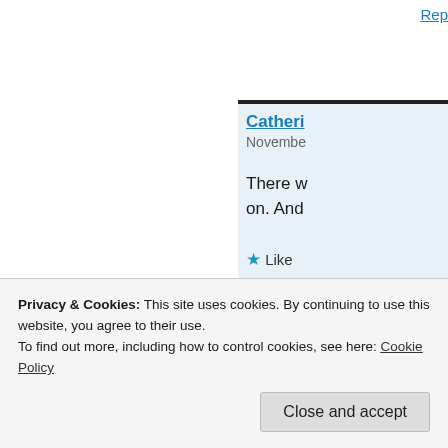Rep
[Figure (photo): Purple-toned romantic silhouette image of two people, used as comment avatar]
Catheri
Novembe
There w on. And
Like
Re
[Figure (photo): Profile photo of a woman with curly hair, used as comment avatar for second commenter]
Ru
Privacy & Cookies: This site uses cookies. By continuing to use this website, you agree to their use.
To find out more, including how to control cookies, see here: Cookie Policy
Close and accept